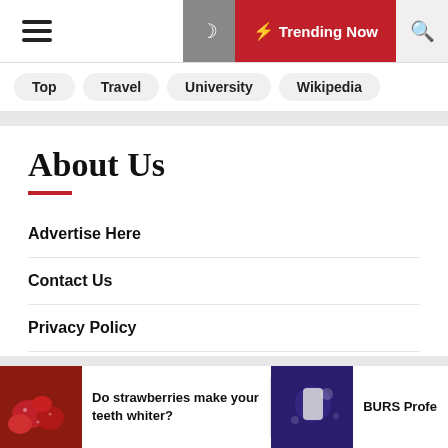☰  🌙  ⚡ Trending Now  🔍
Top
Travel
University
Wikipedia
About Us
Advertise Here
Contact Us
Privacy Policy
Sitemap
Do strawberries make your teeth whiter?
BURS Profe